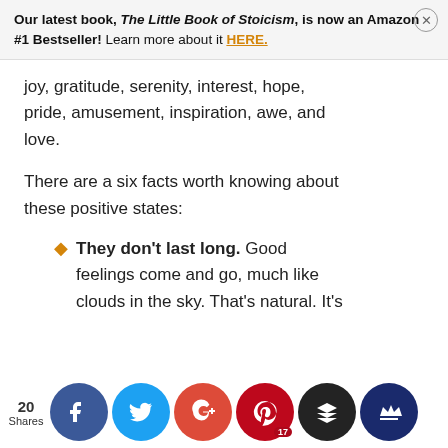Our latest book, The Little Book of Stoicism, is now an Amazon #1 Bestseller! Learn more about it HERE.
joy, gratitude, serenity, interest, hope, pride, amusement, inspiration, awe, and love.
There are a six facts worth knowing about these positive states:
They don't last long. Good feelings come and go, much like clouds in the sky. That's natural. It's
20 Shares [social share icons: Facebook, Twitter, Google+, Pinterest (17), Layers, Crown]